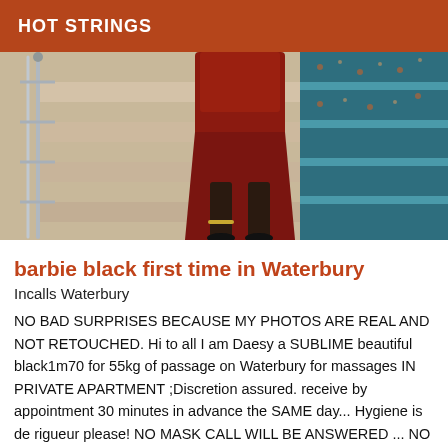HOT STRINGS
[Figure (photo): Photo of a person's legs in high heels on decorative stairs with a metal railing, wearing a red outfit]
barbie black first time in Waterbury
Incalls Waterbury
NO BAD SURPRISES BECAUSE MY PHOTOS ARE REAL AND NOT RETOUCHED. Hi to all I am Daesy a SUBLIME beautiful black1m70 for 55kg of passage on Waterbury for massages IN PRIVATE APARTMENT ;Discretion assured. receive by appointment 30 minutes in advance the SAME day... Hygiene is de rigueur please! NO MASK CALL WILL BE ANSWERED ... NO SMS OR TEXT MESSAGES OR EVEN EMAILS THANK